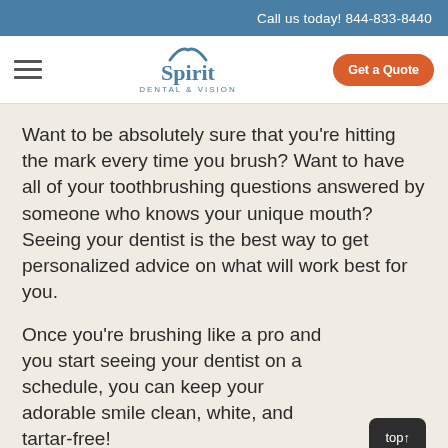Call us today! 844-833-8440
[Figure (logo): Spirit Dental & Vision logo with stylized checkmark above text]
Want to be absolutely sure that you’re hitting the mark every time you brush? Want to have all of your toothbrushing questions answered by someone who knows your unique mouth? Seeing your dentist is the best way to get personalized advice on what will work best for you.
Once you’re brushing like a pro and you start seeing your dentist on a schedule, you can keep your adorable smile clean, white, and tartar-free!